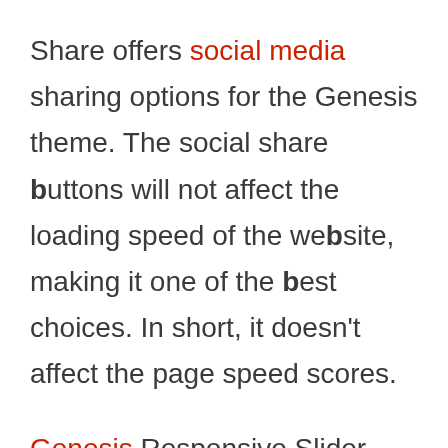Share offers social media sharing options for the Genesis theme. The social share buttons will not affect the loading speed of the website, making it one of the best choices. In short, it doesn't affect the page speed scores.
Genesis Responsive Slider – The slider has always been an important part of a theme. And, the case holds true in the case of Genesis theme. If you are